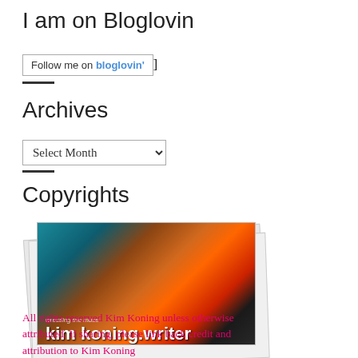I am on Bloglovin
[Figure (screenshot): Follow me on bloglovin button/badge with border]
Archives
[Figure (screenshot): Select Month dropdown widget]
Copyrights
[Figure (photo): Photo of a typewriter with text kim koning.writer and wrestling the muse, stacked like photos]
All rights reserved Kim Koning unless otherwise attributed. If sharing, please link back credit and attribution to Kim Koning